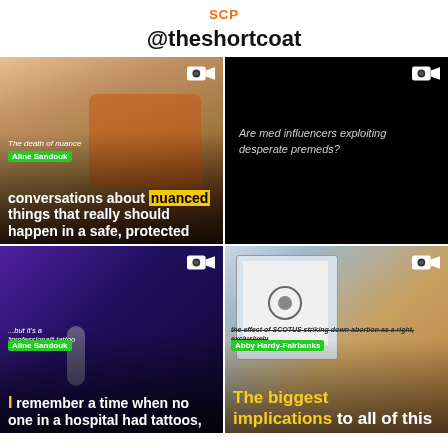SCP
@theshortcoat
[Figure (screenshot): Video thumbnail showing a person wearing headphones in a studio setting with text overlay: 'The death of nuance', name badge 'Aline Sandouk', and quote 'conversations about nuanced things that really should happen in a safe, protected']
[Figure (screenshot): Black background video thumbnail with italic text: 'Are med influencers exploiting desperate premeds?']
[Figure (screenshot): Video thumbnail showing a person with headphones and microphone, text '...but it's a *professional* tattoo', name badge 'Aline Sandouk', and quote 'I remember a time when no one in a hospital had tattoos,']
[Figure (screenshot): Video thumbnail showing a close-up of a person, with crossed-out text about SCOTUS striking down abortion, name badge 'Abby Hardy-Fairbanks', and quote 'The biggest implications to all of this']